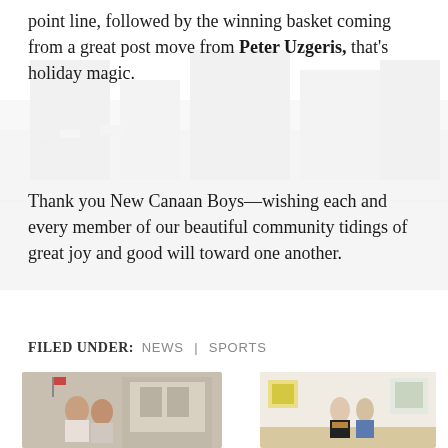point line, followed by the winning basket coming from a great post move from Peter Uzgeris, that's holiday magic.
Thank you New Canaan Boys—wishing each and every member of our beautiful community tidings of great joy and good will toward one another.
FILED UNDER: NEWS | SPORTS
[Figure (photo): Photo of two young women standing on a street sidewalk in front of a Duane Reade or similar store, outdoors.]
[Figure (photo): Photo of two women standing in an art gallery with paintings on the wall behind them.]